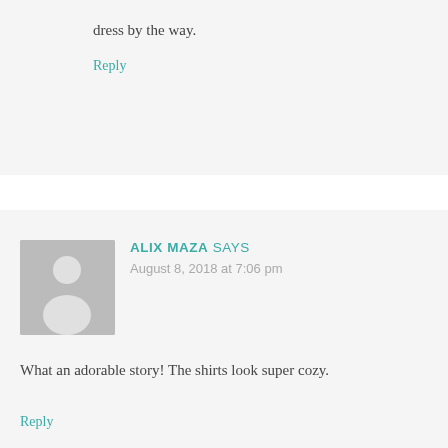dress by the way.
Reply
ALIX MAZA SAYS
August 8, 2018 at 7:06 pm
[Figure (illustration): Generic user avatar placeholder - grey square with white silhouette of a person]
What an adorable story! The shirts look super cozy.
Reply